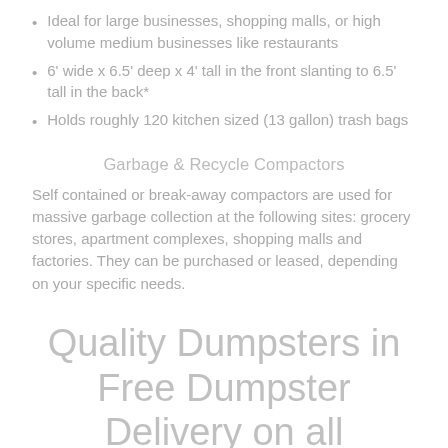Ideal for large businesses, shopping malls, or high volume medium businesses like restaurants
6' wide x 6.5' deep x 4' tall in the front slanting to 6.5' tall in the back*
Holds roughly 120 kitchen sized (13 gallon) trash bags
Garbage & Recycle Compactors
Self contained or break-away compactors are used for massive garbage collection at the following sites: grocery stores, apartment complexes, shopping malls and factories. They can be purchased or leased, depending on your specific needs.
Quality Dumpsters in Free Dumpster Delivery on all Dumpsters in Mahomet,